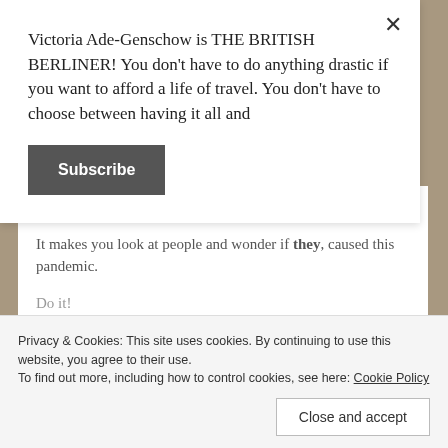Victoria Ade-Genschow is THE BRITISH BERLINER! You don't have to do anything drastic if you want to afford a life of travel. You don't have to choose between having it all and
Subscribe
all in.
It makes you look at people and wonder if they, caused this pandemic.
Privacy & Cookies: This site uses cookies. By continuing to use this website, you agree to their use.
To find out more, including how to control cookies, see here: Cookie Policy
Close and accept